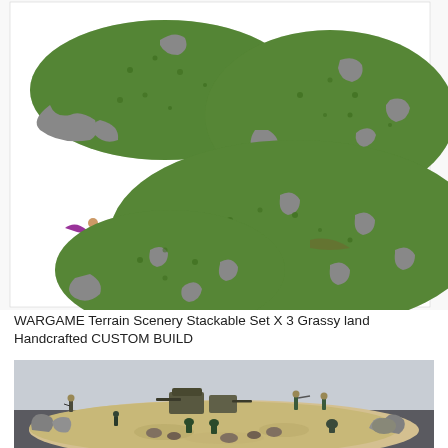[Figure (photo): Product photo of WARGAME Terrain Scenery Stackable Set X 3 - three grassy green rocky hill terrain pieces with a small miniature figure for scale, photographed on white background]
WARGAME Terrain Scenery Stackable Set X 3 Grassy land Handcrafted CUSTOM BUILD
[Figure (photo): Photo of a sandy desert wargame terrain piece with multiple miniature soldiers and military equipment placed on and around it, on a gray surface]